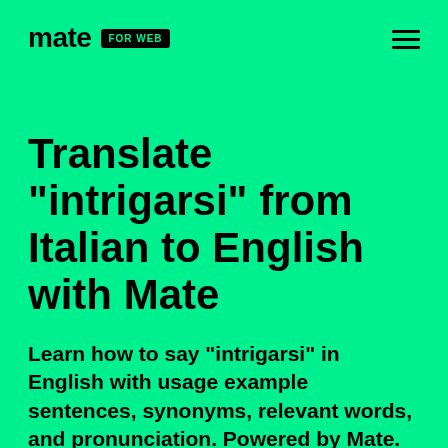mate FOR WEB
Translate "intrigarsi" from Italian to English with Mate
Learn how to say "intrigarsi" in English with usage example sentences, synonyms, relevant words, and pronunciation. Powered by Mate.